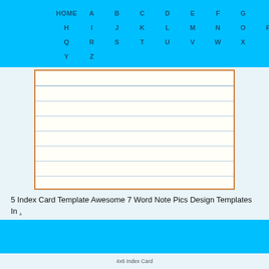HOME  A  B  C  D  E  F  G  H  I  J  K  L  M  N  O  P  Q  R  S  T  U  V  W  X  Y  Z
[Figure (illustration): An index card image with orange border, cream/white background, and multiple horizontal blue-grey ruled lines.]
5 Index Card Template Awesome 7 Word Note Pics Design Templates In .
4x6 Index Card